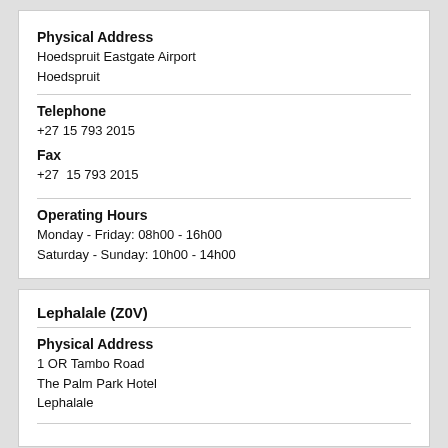Physical Address
Hoedspruit Eastgate Airport
Hoedspruit
Telephone
+27 15 793 2015
Fax
+27  15 793 2015
Operating Hours
Monday - Friday: 08h00 - 16h00
Saturday - Sunday: 10h00 - 14h00
Lephalale (Z0V)
Physical Address
1 OR Tambo Road
The Palm Park Hotel
Lephalale